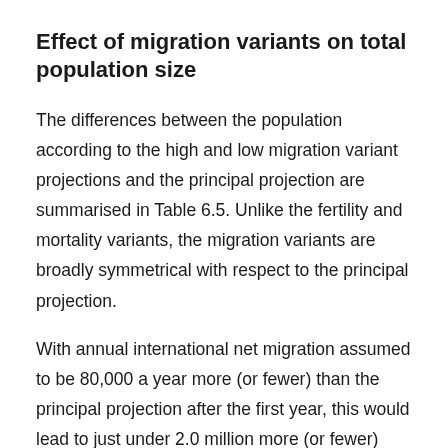Effect of migration variants on total population size
The differences between the population according to the high and low migration variant projections and the principal projection are summarised in Table 6.5. Unlike the fertility and mortality variants, the migration variants are broadly symmetrical with respect to the principal projection.
With annual international net migration assumed to be 80,000 a year more (or fewer) than the principal projection after the first year, this would lead to just under 2.0 million more (or fewer) international migrants over the next 25 years. Because migration is